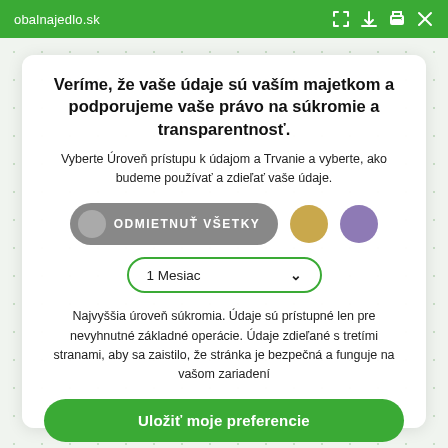obalnajedlo.sk
Veríme, že vaše údaje sú vaším majetkom a podporujeme vaše právo na súkromie a transparentnosť.
Vyberte Úroveň prístupu k údajom a Trvanie a vyberte, ako budeme používať a zdieľať vaše údaje.
ODMIETNUŤ VŠETKY
1 Mesiac
Najvyššia úroveň súkromia. Údaje sú prístupné len pre nevyhnutné základné operácie. Údaje zdieľané s tretími stranami, aby sa zaistilo, že stránka je bezpečná a funguje na vašom zariadení
Uložiť moje preferencie